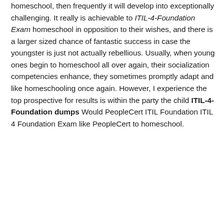homeschool, then frequently it will develop into exceptionally challenging. It really is achievable to ITIL-4-Foundation Exam homeschool in opposition to their wishes, and there is a larger sized chance of fantastic success in case the youngster is just not actually rebellious. Usually, when young ones begin to homeschool all over again, their socialization competencies enhance, they sometimes promptly adapt and like homeschooling once again. However, I experience the top prospective for results is within the party the child ITIL-4-Foundation dumps Would PeopleCert ITIL Foundation ITIL 4 Foundation Exam like PeopleCert to homeschool.